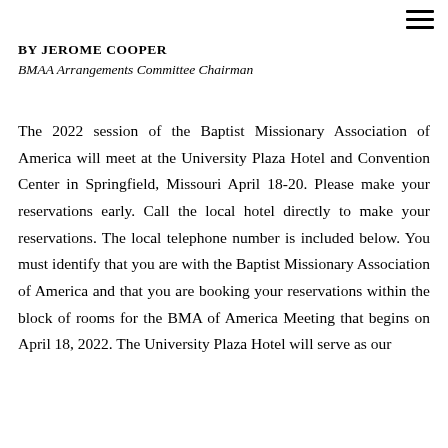BY JEROME COOPER
BMAA Arrangements Committee Chairman
The 2022 session of the Baptist Missionary Association of America will meet at the University Plaza Hotel and Convention Center in Springfield, Missouri April 18-20. Please make your reservations early. Call the local hotel directly to make your reservations. The local telephone number is included below. You must identify that you are with the Baptist Missionary Association of America and that you are booking your reservations within the block of rooms for the BMA of America Meeting that begins on April 18, 2022. The University Plaza Hotel will serve as our